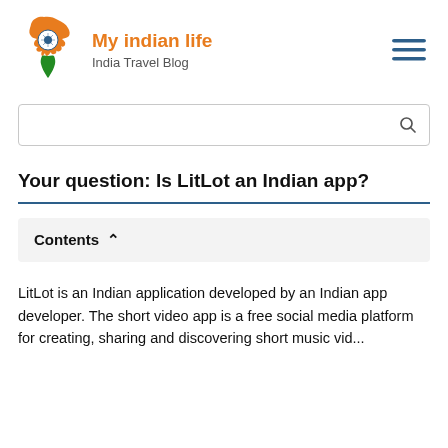[Figure (logo): India map logo with orange, white, and green colors with blue Ashoka Chakra, representing 'My Indian Life' India Travel Blog]
My indian life
India Travel Blog
[Figure (illustration): Hamburger menu icon with three horizontal blue lines]
[Figure (illustration): Search box with magnifying glass icon]
Your question: Is LitLot an Indian app?
Contents ^
LitLot is an Indian application developed by an Indian app developer. The short video app is a free social media platform for creating, sharing and discovering short music vid...